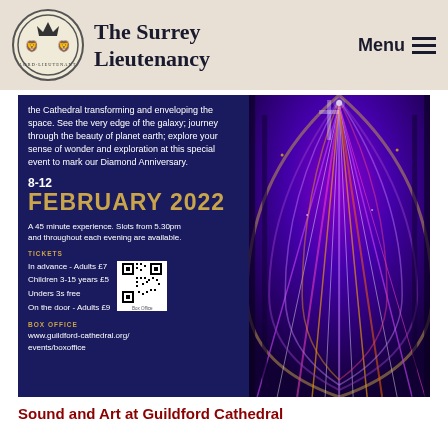The Surrey Lieutenancy
[Figure (illustration): Event promotional image for Guildford Cathedral light and sound show, 8-12 February 2022. Left panel shows dark blue background with white text describing the event, dates, ticket prices, and box office URL. Right panel shows a dramatic interior photograph of Guildford Cathedral with purple and multicolour light projections creating a tunnel-like effect.]
Sound and Art at Guildford Cathedral